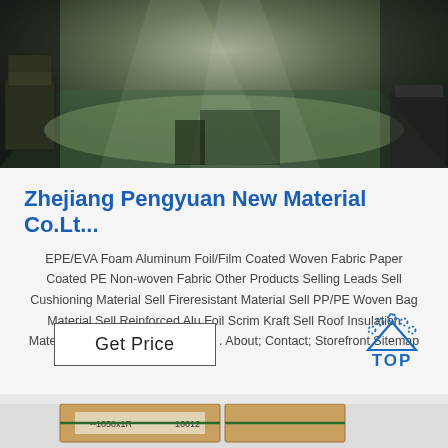[Figure (photo): Interior of a factory/warehouse with green floor and stacked materials under dim lighting]
Zhejiang Pengyuan New Material Co.Lt...
EPE/EVA Foam Aluminum Foil/Film Coated Woven Fabric Paper Coated PE Non-woven Fabric Other Products Selling Leads Sell Cushioning Material Sell Fireresistant Material Sell PP/PE Woven Bag Material Sell Reinforced Alu Foil Scrim Kraft Sell Roof Insulation Material Sell aluminum foil bubble . About; Contact; Storefront Sitemap
Get Price
[Figure (logo): TOP logo with blue dots arranged in arc above the word TOP in blue]
[Figure (photo): Partial view of packaged/boxed materials with labels]